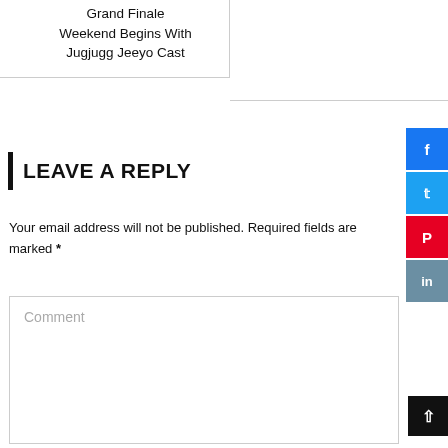Grand Finale Weekend Begins With Jugjugg Jeeyo Cast
LEAVE A REPLY
Your email address will not be published. Required fields are marked *
Comment